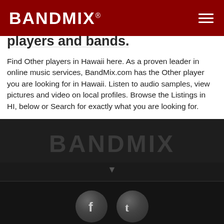BANDMIX®
players and bands.
Find Other players in Hawaii here. As a proven leader in online music services, BandMix.com has the Other player you are looking for in Hawaii. Listen to audio samples, view pictures and video on local profiles. Browse the Listings in HI, below or Search for exactly what you are looking for.
[Figure (logo): BANDMIX logo in dark footer area with downward arrow below]
[Figure (logo): Facebook and Twitter social media icon buttons (circular gray buttons)]
Copyright © 2022 BandMix.com™. All rights reserved.